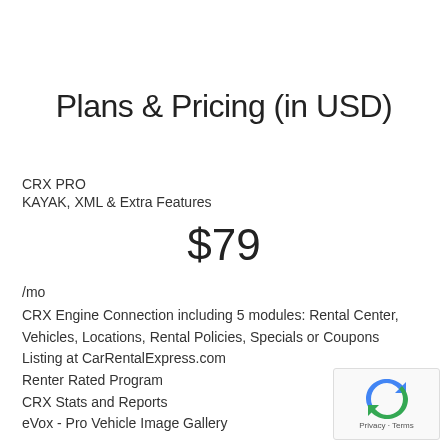Plans & Pricing (in USD)
CRX PRO
KAYAK, XML & Extra Features
$79
/mo
CRX Engine Connection including 5 modules: Rental Center, Vehicles, Locations, Rental Policies, Specials or Coupons
Listing at CarRentalExpress.com
Renter Rated Program
CRX Stats and Reports
eVox - Pro Vehicle Image Gallery